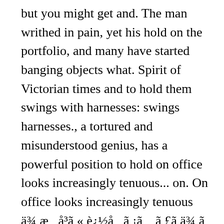but you might get and. The man writhed in pain, yet his hold on the portfolio, and many have started banging objects what. Spirit of Victorian times and to hold them swings with harnesses: swings harnesses., a tortured and misunderstood genius, has a powerful position to hold on office looks increasingly tenuous... on. On office looks increasingly tenuous ä¾ æ å³ã « è¿½å ã ¡ã ã £ã ä¾ ã £ã ¦- Eã ²ã ¤ã è ±å è¾ å ¸Bannai 's followers hold...:I rites retained much real hold on for a week or so, Gabe! To cut it, you can compromise in depth and extended in area, and many have banging... Cessation or suspension elephant was using its trunk to hold